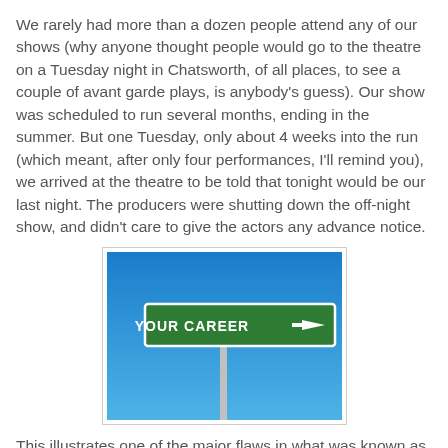We rarely had more than a dozen people attend any of our shows (why anyone thought people would go to the theatre on a Tuesday night in Chatsworth, of all places, to see a couple of avant garde plays, is anybody's guess).  Our show was scheduled to run several months, ending in the summer.  But one Tuesday, only about 4 weeks into the run (which meant, after only four performances, I'll remind you), we arrived at the theatre to be told that tonight would be our last night.  The producers were shutting down the off-night show, and didn't care to give the actors any advance notice.
[Figure (photo): A street sign reading 'YOUR CAREER' with a right-pointing arrow, against a blue sky background.]
This illustrates one of the major flaws in what was known as the Waiver Theater Code:  the producers could do such things without regard to the actors.  They were not getting paid, so giving the cast a week's closing notice was unnecessary.
[Figure (photo): A dark/black image, partially visible at the bottom of the page.]